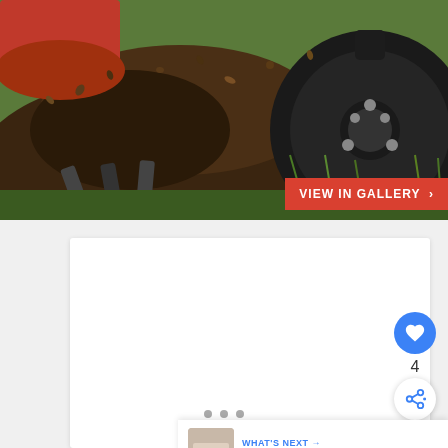[Figure (photo): Close-up photo of a red and black tiller/cultivator machine churning dark soil, with grass and dirt being flung up, taken from ground level. The black wheel hub with bolts is visible on the right side.]
VIEW IN GALLERY ›
[Figure (photo): White content card area (blank/ad space)]
4
WHAT'S NEXT → How To Use A Calm...